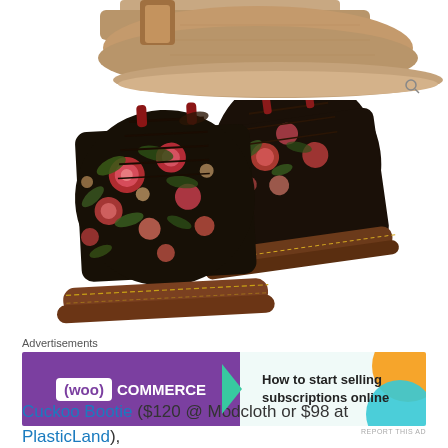[Figure (photo): Partial view of a tan/brown suede boot at the top of the page, cropped, with a magnify icon in the lower right corner]
[Figure (photo): A pair of Dr. Martens-style lace-up ankle boots with a black background covered in a colorful floral pattern (pink roses, green leaves), with yellow stitching on the brown sole]
Advertisements
[Figure (other): WooCommerce advertisement banner: purple left side with WooCommerce logo and teal arrow, right side reads 'How to start selling subscriptions online' with orange and teal decorative circles]
REPORT THIS AD
Cuckoo Bootie ($120 @ Modcloth or $98 at PlasticLand), Maytorena ($80 @ Aldo), and Victorian Flowers ($150 @